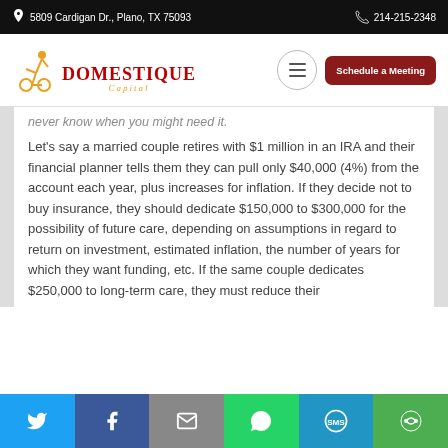5809 Cardigan Dr., Plano, TX  75093 | 214-215-2348
[Figure (logo): Domestique Capital logo with cyclist illustration in orange/yellow, company name in red serif font, 'Capital' in orange italic below]
never know when you might need it.
Let's say a married couple retires with $1 million in an IRA and their financial planner tells them they can pull only $40,000 (4%) from the account each year, plus increases for inflation. If they decide not to buy insurance, they should dedicate $150,000 to $300,000 for the possibility of future care, depending on assumptions in regard to return on investment, estimated inflation, the number of years for which they want funding, etc. If the same couple dedicates $250,000 to long-term care, they must reduce their
Twitter | Facebook | Email | WhatsApp | SMS | More